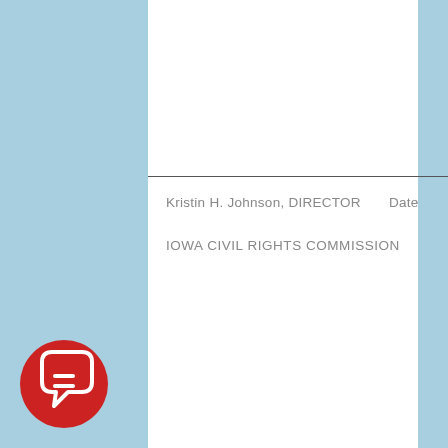Kristin H. Johnson, DIRECTOR    Date
IOWA CIVIL RIGHTS COMMISSION
[Figure (logo): Red circular chat bubble logo with an equals sign inside, Iowa Civil Rights Commission branding icon]